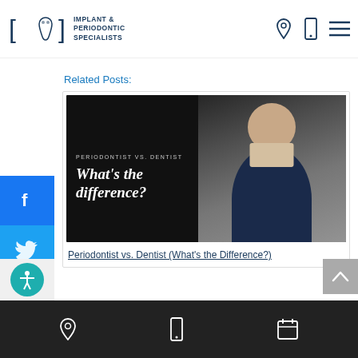Implant & Periodontic Specialists
Related Posts:
[Figure (photo): Blog post thumbnail image with dark background showing a man in a suit on the right side and white text on the left reading 'PERIODONTIST VS. DENTIST' and 'What's the difference?' in italic serif font]
Periodontist vs. Dentist (What's the Difference?)
Bottom navigation bar with location, phone, and calendar icons on dark background